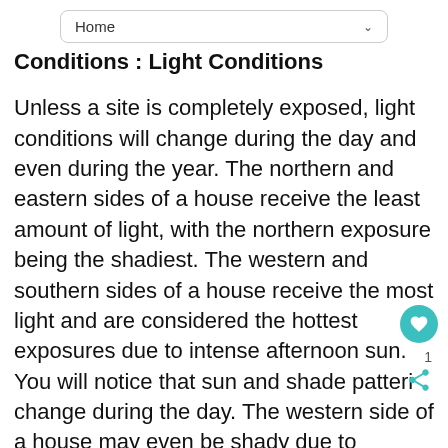Home
Conditions : Light Conditions
Unless a site is completely exposed, light conditions will change during the day and even during the year. The northern and eastern sides of a house receive the least amount of light, with the northern exposure being the shadiest. The western and southern sides of a house receive the most light and are considered the hottest exposures due to intense afternoon sun. You will notice that sun and shade patterns change during the day. The western side of a house may even be shady due to shadows cast by large trees or a structure from an